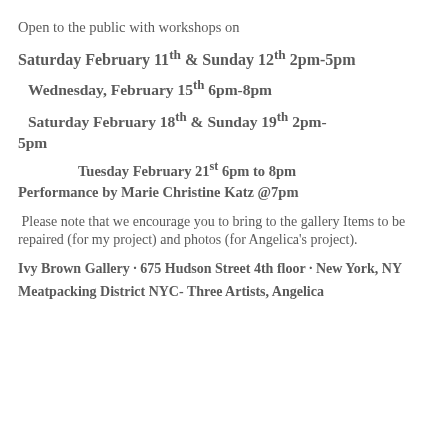Open to the public with workshops on
Saturday February 11th & Sunday 12th 2pm-5pm
Wednesday, February 15th 6pm-8pm
Saturday February 18th & Sunday 19th 2pm-5pm
Tuesday February 21st 6pm to 8pm
Performance by Marie Christine Katz @7pm
Please note that we encourage you to bring to the gallery Items to be repaired (for my project) and photos (for Angelica's project).
Ivy Brown Gallery · 675 Hudson Street 4th floor · New York, NY
Meatpacking District NYC- Three Artists, Angelica